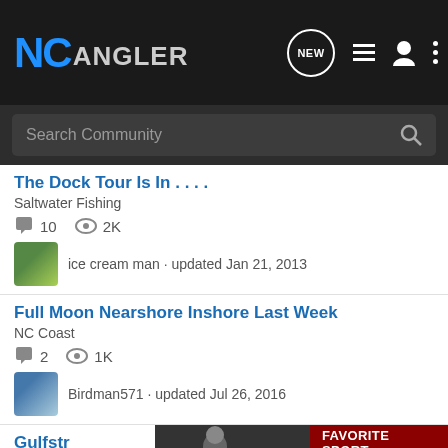NC Angler
Search Community
The Dock Tour Is In . . . .
Saltwater Fishing
10 comments · 2K views
ice cream man · updated Jan 21, 2013
Full Moon Nearshore Inshore Last Week
NC Coast
2 comments · 1K views
Birdman571 · updated Jul 26, 2016
Gulfstr...
NC Coa...
[Figure (screenshot): Advertisement banner: YOUR NEW FAVORITE SPORT - EXPLORE HOW TO RESPONSIBLY PARTICIPATE IN THE SHOOTING SPORTS. START HERE!]